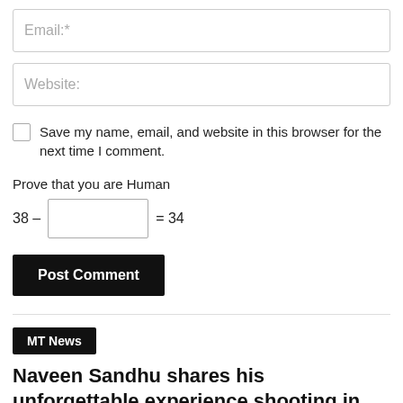Email:*
Website:
Save my name, email, and website in this browser for the next time I comment.
Prove that you are Human
38 – [input] = 34
Post Comment
MT News
Naveen Sandhu shares his unforgettable experience shooting in Manipur
Manipur Times - July 7, 2022